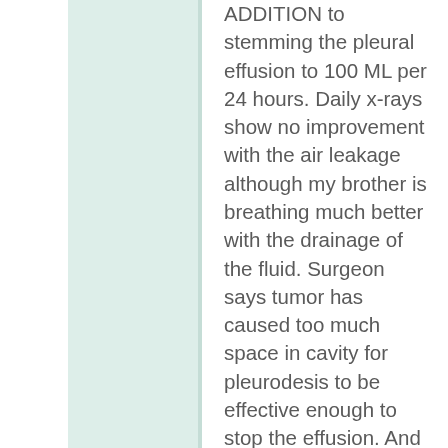ADDITION to stemming the pleural effusion to 100 ML per 24 hours. Daily x-rays show no improvement with the air leakage although my brother is breathing much better with the drainage of the fluid. Surgeon says tumor has caused too much space in cavity for pleurodesis to be effective enough to stop the effusion. And there really is nothing further he can do but hope the lung heals